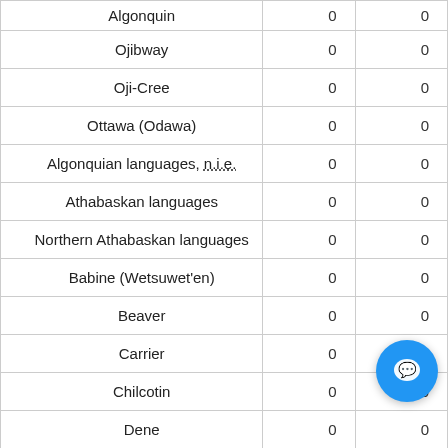| Language |  |  |
| --- | --- | --- |
| Algonquin | 0 | 0 |
| Ojibway | 0 | 0 |
| Oji-Cree | 0 | 0 |
| Ottawa (Odawa) | 0 | 0 |
| Algonquian languages, n.i.e. | 0 | 0 |
| Athabaskan languages | 0 | 0 |
| Northern Athabaskan languages | 0 | 0 |
| Babine (Wetsuwet'en) | 0 | 0 |
| Beaver | 0 | 0 |
| Carrier | 0 | 0 |
| Chilcotin | 0 | 0 |
| Dene | 0 | 0 |
| Dogrib (Tlicho) | 0 | 0 |